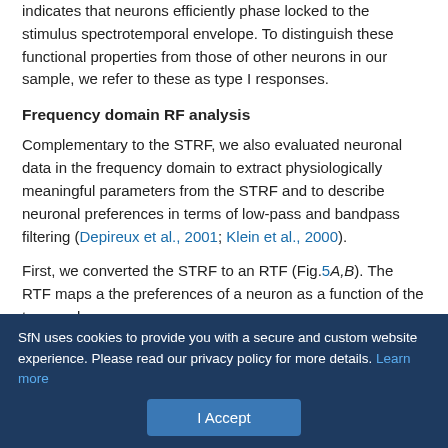indicates that neurons efficiently phase locked to the stimulus spectrotemporal envelope. To distinguish these functional properties from those of other neurons in our sample, we refer to these as type I responses.
Frequency domain RF analysis
Complementary to the STRF, we also evaluated neuronal data in the frequency domain to extract physiologically meaningful parameters from the STRF and to describe neuronal preferences in terms of low-pass and bandpass filtering (Depireux et al., 2001; Klein et al., 2000).
First, we converted the STRF to an RTF (Fig.5A,B). The RTF maps a the preferences of a neuron as a function of the temporal
SfN uses cookies to provide you with a secure and custom website experience. Please read our privacy policy for more details. Learn more